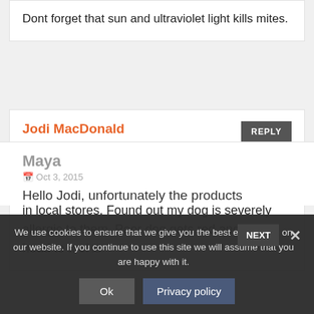Dont forget that sun and ultraviolet light kills mites.
Jodi MacDonald
Apr 30, 2015
Please can someone tell me active ingediance that kill the dust mites. I cannot find these items in local stores. Found out my dog is severely allergic to them. Poor dog gets red and itchy head to toe! □
We use cookies to ensure that we give you the best experience on our website. If you continue to use this site we will assume that you are happy with it.
Ok
Privacy policy
Maya
Hello Jodi, unfortunately the products